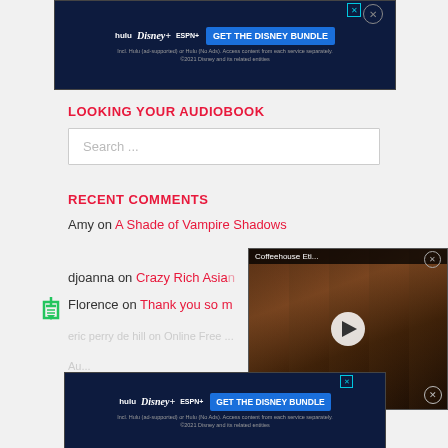[Figure (other): Disney Bundle advertisement banner with Hulu, Disney+, ESPN+ logos and GET THE DISNEY BUNDLE CTA button]
LOOKING YOUR AUDIOBOOK
Search ...
RECENT COMMENTS
Amy on A Shade of Vampire Shadows
djoanna on Crazy Rich Asians
Florence on Thank you so m...
[Figure (screenshot): Video overlay showing Coffeehouse Eti... with play button over a laptop/coffee scene thumbnail]
...
[Figure (other): Disney Bundle advertisement banner at the bottom with Hulu, Disney+, ESPN+ logos and GET THE DISNEY BUNDLE CTA button]